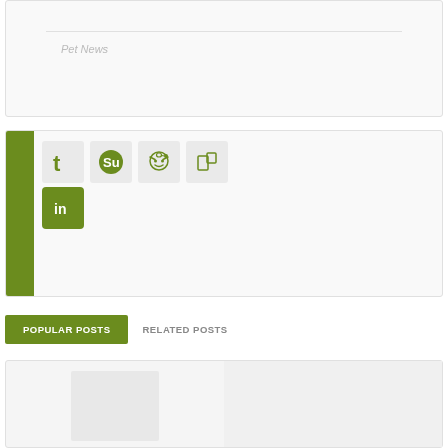Pet News
[Figure (infographic): Social sharing icons: Twitter, StumbleUpon, Reddit, share/bookmark icon (all olive/green colored), and LinkedIn icon (green with 'in' logo)]
POPULAR POSTS
RELATED POSTS
[Figure (other): Post thumbnail image placeholder area showing two column layout for popular posts]